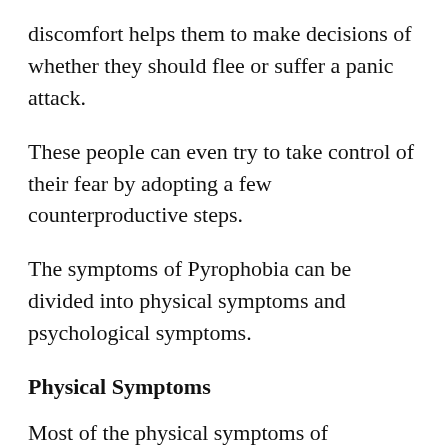discomfort helps them to make decisions of whether they should flee or suffer a panic attack.
These people can even try to take control of their fear by adopting a few counterproductive steps.
The symptoms of Pyrophobia can be divided into physical symptoms and psychological symptoms.
Physical Symptoms
Most of the physical symptoms of